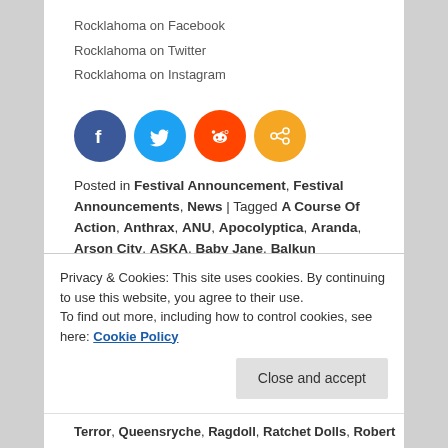Rocklahoma on Facebook
Rocklahoma on Twitter
Rocklahoma on Instagram
[Figure (other): Social sharing icons: Facebook (blue), Twitter (light blue), Reddit (orange-red), Share (orange)]
Posted in Festival Announcement, Festival Announcements, News | Tagged A Course Of Action, Anthrax, ANU, Apocolyptica, Aranda, Arson City, ASKA, Baby Jane, Balkun Brothers, Breaking Benjamin, BUTCHER BABIES, Candlebox, Chaotic Resemblance, Crobot, Dead Metal Society, Dellacoma, Delta Rose, Diamond Lane, Dirty Crush, DREK, DRYVR, Empire Grey, Even the Dogs, Fight the Fade, Firstryke, ...Terror, Queensryche, Ragdoll, Ratchet Dolls, Robert
Privacy & Cookies: This site uses cookies. By continuing to use this website, you agree to their use.
To find out more, including how to control cookies, see here: Cookie Policy